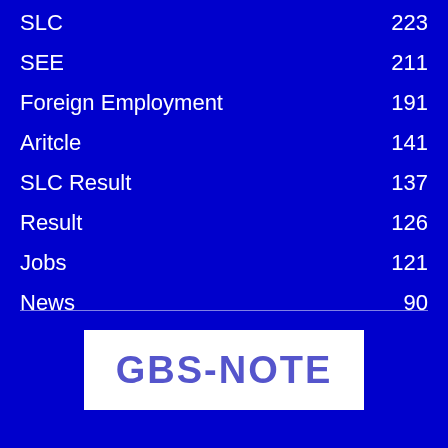SLC    223
SEE    211
Foreign Employment    191
Aritcle    141
SLC Result    137
Result    126
Jobs    121
News    90
[Figure (logo): GBS-NOTE logo in blue text on white rectangular background]